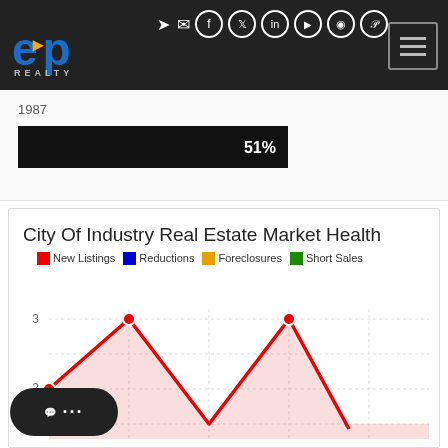[Figure (logo): eXp Realty logo in white/blue on dark header bar]
[Figure (infographic): Progress bar showing 51%]
City Of Industry Real Estate Market Health
[Figure (line-chart): Line chart with area fill showing New Listings (red), Reductions (blue), Foreclosures (orange), Short Sales (green). Y-axis shows values 2 and 3 visible. Red line peaks at 3 twice and starts at 2.]